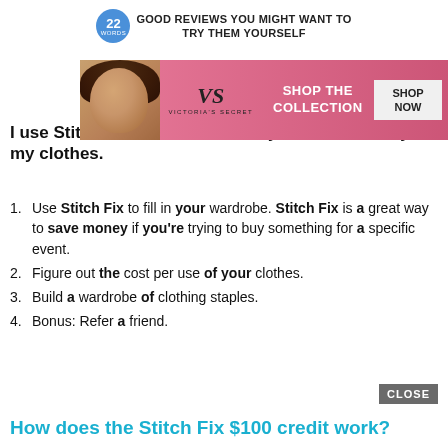22 WORDS GOOD REVIEWS YOU MIGHT WANT TO TRY THEM YOURSELF
[Figure (illustration): Victoria's Secret advertisement banner with a woman model on the left, VS logo in the center, 'SHOP THE COLLECTION' text, and a 'SHOP NOW' button on the right]
I use Stitch Fix in three main ways to save money on my clothes.
Use Stitch Fix to fill in your wardrobe. Stitch Fix is a great way to save money if you're trying to buy something for a specific event.
Figure out the cost per use of your clothes.
Build a wardrobe of clothing staples.
Bonus: Refer a friend.
How does the Stitch Fix $100 credit work?